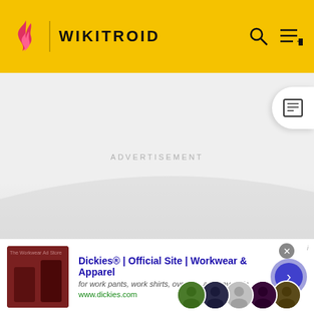WIKITROID
[Figure (screenshot): Advertisement area with light gray background]
MORE INFORMATION
Top Contributors
Categories
Other Languages:
[Figure (screenshot): Bottom advertisement banner: Dickies® | Official Site | Workwear & Apparel, for work pants, work shirts, overalls, and coveralls. www.dickies.com]